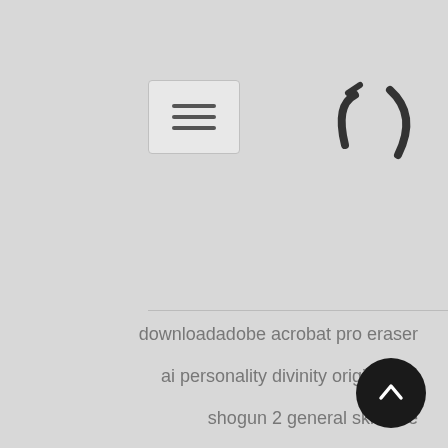[Figure (other): Hamburger menu button icon with three horizontal lines]
[Figure (logo): Stylized logo with curved bracket-like characters in dark color]
downloadadobe acrobat pro eraser
ai personality divinity original sin
shogun 2 general skill tree
dark messiah of might and magic cheats
linksys lne100tx driver windows 7 x64
moto z play android 7
youtube videos green and purple firefox
razer blade keyboard backlight not working